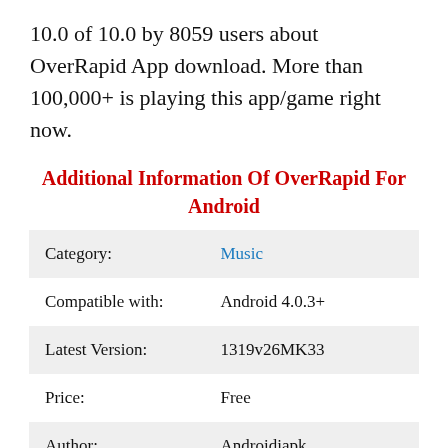10.0 of 10.0 by 8059 users about OverRapid App download. More than 100,000+ is playing this app/game right now.
Additional Information Of OverRapid For Android
| Category: | Music |
| Compatible with: | Android 4.0.3+ |
| Latest Version: | 1319v26MK33 |
| Price: | Free |
| Author: | Androidiapk |
| Size: | 49.62 MB |
| Downloads: | 100,000+ |